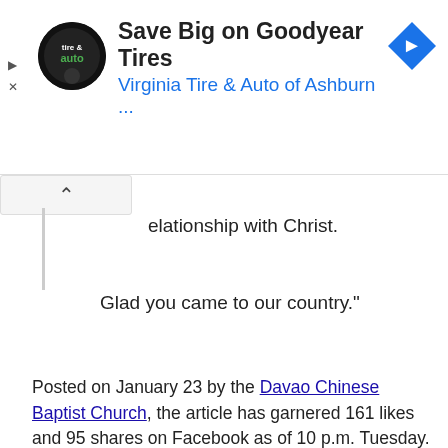[Figure (screenshot): Advertisement banner for Virginia Tire & Auto of Ashburn featuring Goodyear Tires savings offer, with circular logo, headline text, and a blue navigation arrow icon]
elationship with Christ.
Glad you came to our country."
Posted on January 23 by the Davao Chinese Baptist Church, the article has garnered 161 likes and 95 shares on Facebook as of 10 p.m. Tuesday. It also received over 2,000 recommendations on the SunStar Davao website.
Photo by Benhur Arcayan/Malacañang Photo Bureau